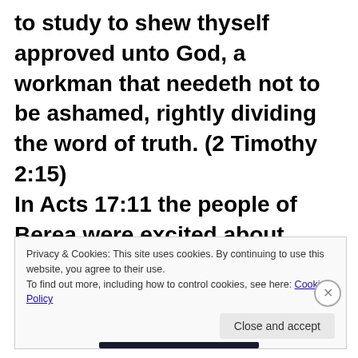to study to shew thyself approved unto God, a workman that needeth not to be ashamed, rightly dividing the word of truth. (2 Timothy 2:15)
In Acts 17:11 the people of Berea were excited about receiving the word of God
Privacy & Cookies: This site uses cookies. By continuing to use this website, you agree to their use.
To find out more, including how to control cookies, see here: Cookie Policy
Close and accept